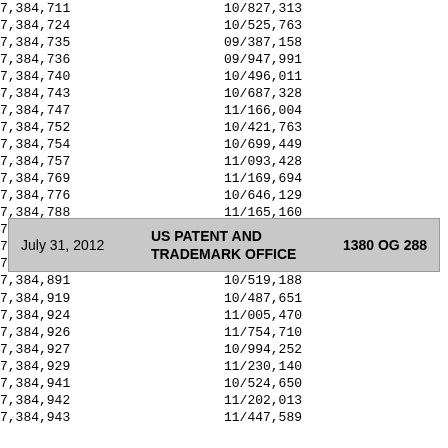| 7,384,711 | 10/827,313 |
| 7,384,724 | 10/525,763 |
| 7,384,735 | 09/387,158 |
| 7,384,736 | 09/947,991 |
| 7,384,740 | 10/496,011 |
| 7,384,743 | 10/687,328 |
| 7,384,747 | 11/166,004 |
| 7,384,752 | 10/421,763 |
| 7,384,754 | 10/699,449 |
| 7,384,757 | 11/093,428 |
| 7,384,769 | 11/169,694 |
| 7,384,776 | 10/646,129 |
| 7,384,788 | 11/165,160 |
| 7,384,796 | 10/328,403 |
| 7,384,841 | 11/358,060 |
| 7,384,889 | 10/862,469 |
| 7,384,891 | 10/519,188 |
July 31, 2012    US PATENT AND TRADEMARK OFFICE    1380 OG 288
| 7,384,919 | 10/487,651 |
| 7,384,924 | 11/005,470 |
| 7,384,926 | 11/754,710 |
| 7,384,927 | 10/994,252 |
| 7,384,929 | 11/230,140 |
| 7,384,941 | 10/524,650 |
| 7,384,942 | 11/202,013 |
| 7,384,943 | 11/447,589 |